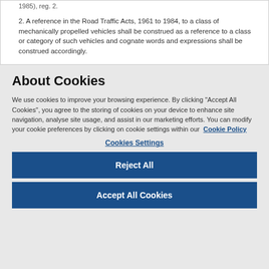1985), reg. 2.
2. A reference in the Road Traffic Acts, 1961 to 1984, to a class of mechanically propelled vehicles shall be construed as a reference to a class or category of such vehicles and cognate words and expressions shall be construed accordingly.
About Cookies
We use cookies to improve your browsing experience. By clicking "Accept All Cookies", you agree to the storing of cookies on your device to enhance site navigation, analyse site usage, and assist in our marketing efforts. You can modify your cookie preferences by clicking on cookie settings within our Cookie Policy
Cookies Settings
Reject All
Accept All Cookies